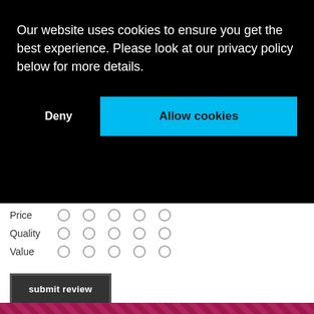Our website uses cookies to ensure you get the best experience. Please look at our privacy policy below for more details.
Deny
Allow cookies
Price
Quality
Value
submit review
[Figure (photo): Bottom portion of a decorative red/maroon patterned background with gold-framed picture frames visible]